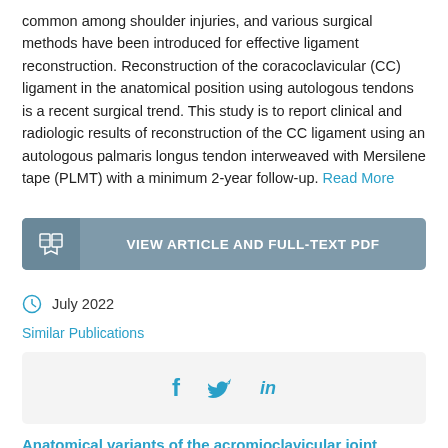common among shoulder injuries, and various surgical methods have been introduced for effective ligament reconstruction. Reconstruction of the coracoclavicular (CC) ligament in the anatomical position using autologous tendons is a recent surgical trend. This study is to report clinical and radiologic results of reconstruction of the CC ligament using an autologous palmaris longus tendon interweaved with Mersilene tape (PLMT) with a minimum 2-year follow-up. Read More
VIEW ARTICLE AND FULL-TEXT PDF
July 2022
Similar Publications
[Figure (infographic): Social sharing icons: Facebook (f), Twitter (bird), LinkedIn (in)]
Anatomical variants of the acromioclavicular joint